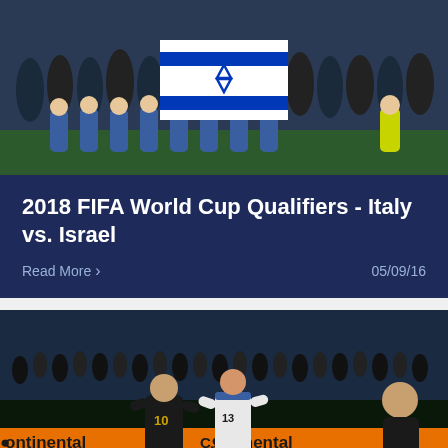[Figure (photo): Soccer team posing on field holding Israeli flag, group photo]
2018 FIFA World Cup Qualifiers - Italy vs. Israel
Read More >
05/09/16
[Figure (photo): Soccer match action shot: player #10 in dark kit dribbling ball, player #13 in white kit defending, Continental tire advertising boards in background]